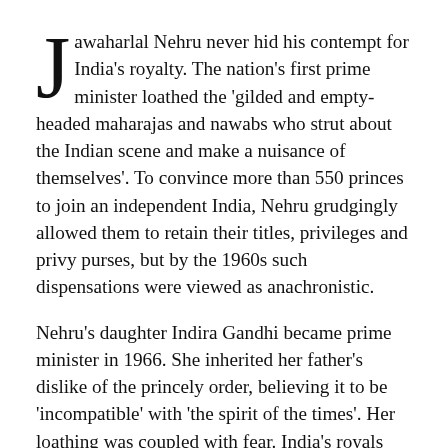Jawaharlal Nehru never hid his contempt for India's royalty. The nation's first prime minister loathed the 'gilded and empty-headed maharajas and nawabs who strut about the Indian scene and make a nuisance of themselves'. To convince more than 550 princes to join an independent India, Nehru grudgingly allowed them to retain their titles, privileges and privy purses, but by the 1960s such dispensations were viewed as anachronistic.
Nehru's daughter Indira Gandhi became prime minister in 1966. She inherited her father's dislike of the princely order, believing it to be 'incompatible' with 'the spirit of the times'. Her loathing was coupled with fear. India's royals had lost little of their lustre and those with the audacity to enter politics were successfully taking on her Congress Party.
Of all those she despised, she held Gayatri Devi, the